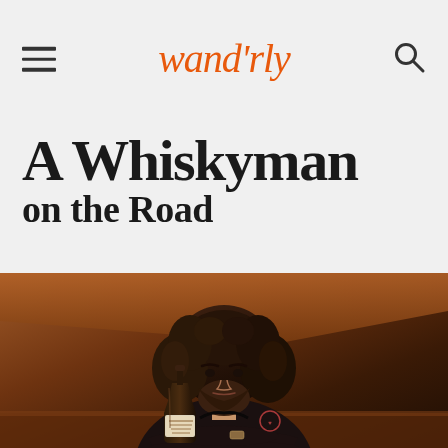wandrly
A Whiskyman on the Road
[Figure (photo): A man with long curly dark hair and a beard wearing a black shirt, leaning forward with arms crossed on a table, resting next to a bottle of Wild Draftsman whiskey. Background has warm brown tones with a diagonal stripe.]